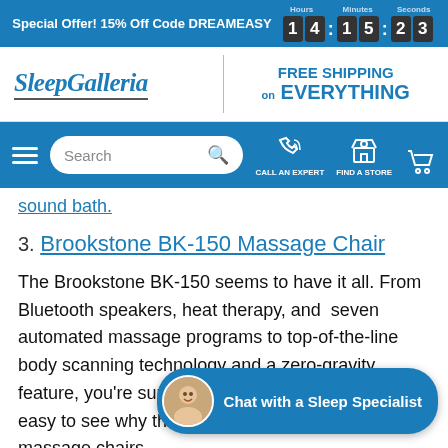Special Offer! 15% Off Code DREAMEASY  14:15:23
[Figure (logo): Sleep Galleria logo with italic text]
FREE SHIPPING on EVERYTHING
[Figure (screenshot): Navigation bar with hamburger menu, search box, call an expert icon, find a store icon, and cart icon]
sound bath.
3. Brookstone BK-150 Massage Chair
The Brookstone BK-150 seems to have it all. From Bluetooth speakers, heat therapy, and seven automated massage programs to top-of-the-line body scanning technology and a zero-gravity feature, you're sure to love relaxing in this one. It's easy to see why this is one of our best-selling 2D massage chairs.
4. Brookstone BK-250 Massage Chair
If the Brookstone BK-150 w...